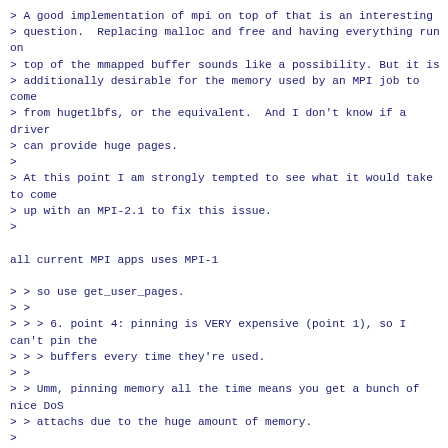> A good implementation of mpi on top of that is an interesting
> question.  Replacing malloc and free and having everything run on
> top of the mmapped buffer sounds like a possibility. But it is
> additionally desirable for the memory used by an MPI job to come
> from hugetlbfs, or the equivalent.  And I don't know if a driver
> can provide huge pages.
>
> At this point I am strongly tempted to see what it would take to come
> up with an MPI-2.1 to fix this issue.
>

all current MPI apps uses MPI-1

> > so use get_user_pages.
> >
> > > 6. point 4: pinning is VERY expensive (point 1), so I can't pin the
> > > buffers every time they're used.
> >
> > Umm, pinning memory all the time means you get a bunch of nice DoS
> > attachs due to the huge amount of memory.
>